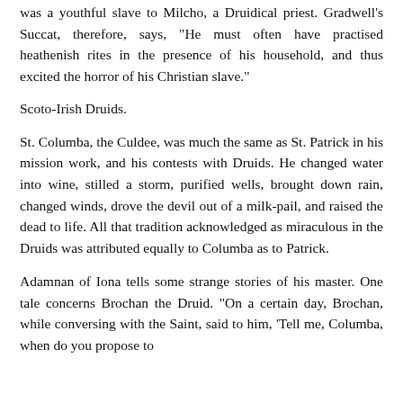was a youthful slave to Milcho, a Druidical priest. Gradwell's Succat, therefore, says, "He must often have practised heathenish rites in the presence of his household, and thus excited the horror of his Christian slave."
Scoto-Irish Druids.
St. Columba, the Culdee, was much the same as St. Patrick in his mission work, and his contests with Druids. He changed water into wine, stilled a storm, purified wells, brought down rain, changed winds, drove the devil out of a milk-pail, and raised the dead to life. All that tradition acknowledged as miraculous in the Druids was attributed equally to Columba as to Patrick.
Adamnan of Iona tells some strange stories of his master. One tale concerns Brochan the Druid. "On a certain day, Brochan, while conversing with the Saint, said to him, 'Tell me, Columba, when do you propose to